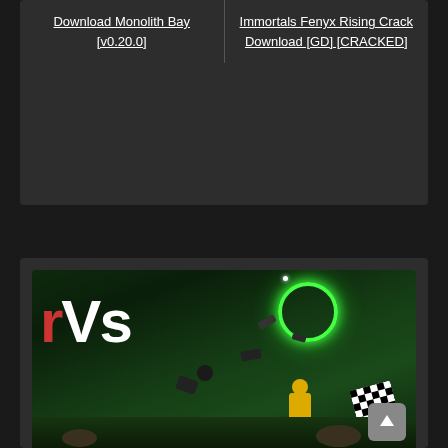Download Monolith Bay [v0.20.0]
Immortals Fenyx Rising Crack Download [GD] [CRACKED]
[Figure (screenshot): Game screenshot showing 'Vs' text in large white letters with red partial letter on left, set against a dark green atmospheric background. A stick figure character with yellow body is visible in center, surrounded by floating objects. A glowing green ring/halo floats above. Grass is visible at the bottom. A scroll-to-top button (arrow up) is in the bottom right corner.]